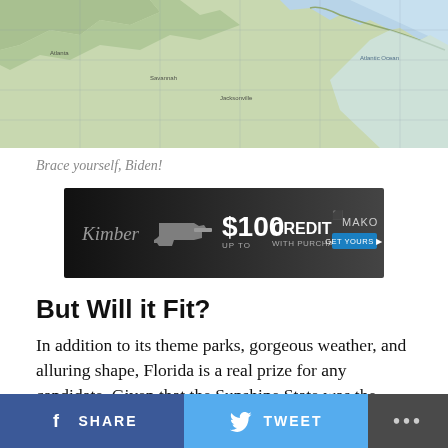[Figure (map): Aerial/satellite map image showing a coastal region, likely the southeastern United States coastline with topographic and geographic features visible.]
Brace yourself, Biden!
[Figure (other): Advertisement banner for Kimber firearms: '$100 CREDIT UP TO WITH PURCHASE' and 'MAKO GET YOURS' button on dark background with gun image.]
But Will it Fit?
In addition to its theme parks, gorgeous weather, and alluring shape, Florida is a real prize for any candidate. Given that the Sunshine State was the deciding factor in the even more fractious 2000 presidential elections (remember that crap tornado?), Biden's wanted to secure Florida under his belt for some time. Now, it
SHARE   TWEET   ...